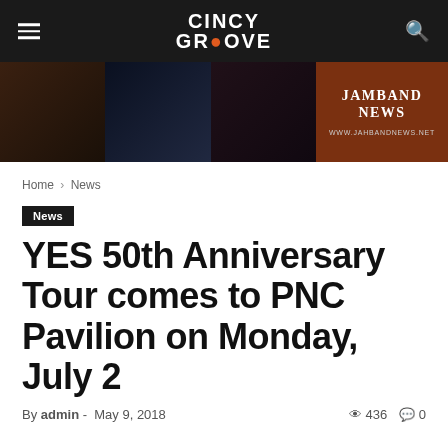CINCY GROOVE
[Figure (photo): Banner advertisement showing concert photos on the left and Jamband News branding (www.jahbandnews.net) on dark brown background on the right]
Home › News
News
YES 50th Anniversary Tour comes to PNC Pavilion on Monday, July 2
By admin - May 9, 2018   👁 436   💬 0